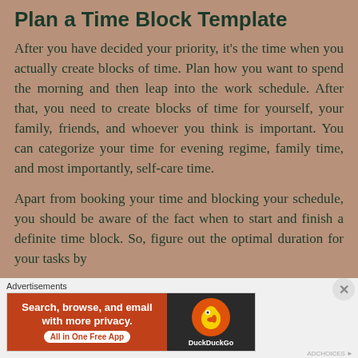Plan a Time Block Template
After you have decided your priority, it's the time when you actually create blocks of time. Plan how you want to spend the morning and then leap into the work schedule. After that, you need to create blocks of time for yourself, your family, friends, and whoever you think is important. You can categorize your time for evening regime, family time, and most importantly, self-care time.
Apart from booking your time and blocking your schedule, you should be aware of the fact when to start and finish a definite time block. So, figure out the optimal duration for your tasks by
[Figure (screenshot): DuckDuckGo advertisement banner with text 'Search, browse, and email with more privacy. All in One Free App' on orange background and DuckDuckGo duck logo on dark background]